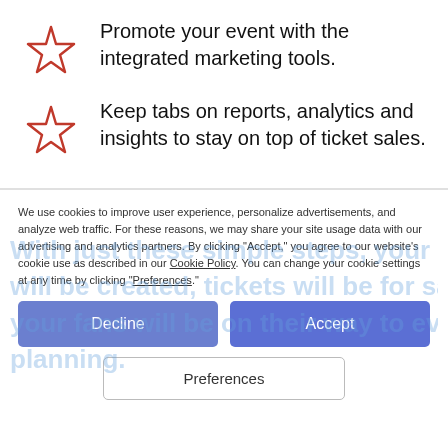Promote your event with the integrated marketing tools.
Keep tabs on reports, analytics and insights to stay on top of ticket sales.
We use cookies to improve user experience, personalize advertisements, and analyze web traffic. For these reasons, we may share your site usage data with our advertising and analytics partners. By clicking “Accept,” you agree to our website’s cookie use as described in our Cookie Policy. You can change your cookie settings at any time by clicking “Preferences.”